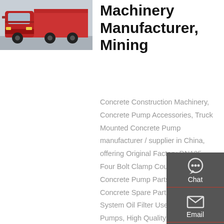[Figure (photo): Red truck/heavy machinery vehicle parked in a yard, front-facing view]
Machinery Manufacturer, Mining
Concrete Construction Machinery, Concrete Pump Accessories, Truck Mounted Concrete Pump manufacturer / supplier in China, offering Original Factory DN125 Four Bolt Clamp Coupling for Concrete Pump Parts, Best Selling Concrete Spare Parts Hydraulic System Oil Filter Used for Concrete Pumps, High Quality Rubber Bladder of
[Figure (infographic): Right-side contact panel with Chat, Email, Contact, and Top navigation icons on dark grey background]